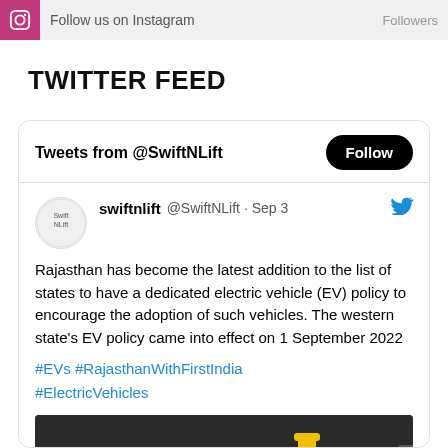Follow us on Instagram  Followers
TWITTER FEED
Tweets from @SwiftNLift
swiftnlift @SwiftNLift · Sep 3
Rajasthan has become the latest addition to the list of states to have a dedicated electric vehicle (EV) policy to encourage the adoption of such vehicles. The western state's EV policy came into effect on 1 September 2022
#EVs #RajasthanWithFirstIndia #ElectricVehicles
[Figure (photo): Photo of an electric vehicle charging at a charging station with a yellow bollard visible]